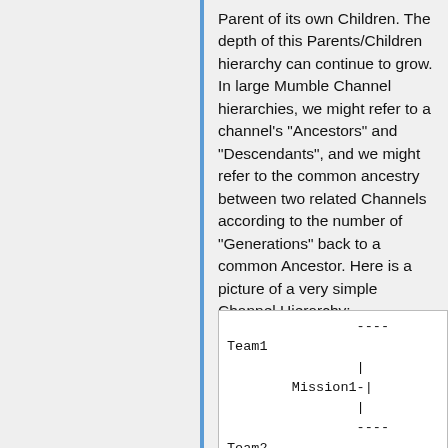Parent of its own Children. The depth of this Parents/Children hierarchy can continue to grow. In large Mumble Channel hierarchies, we might refer to a channel's "Ancestors" and "Descendants", and we might refer to the common ancestry between two related Channels according to the number of "Generations" back to a common Ancestor. Here is a picture of a very simple Channel Hierarchy:
[Figure (other): ASCII diagram showing a simple channel hierarchy with Team1, Mission1-, Team2 connected by dashes and vertical bars]